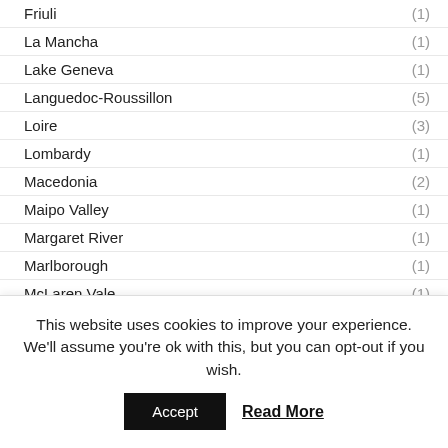Friuli (1)
La Mancha (1)
Lake Geneva (1)
Languedoc-Roussillon (5)
Loire (3)
Lombardy (1)
Macedonia (2)
Maipo Valley (1)
Margaret River (1)
Marlborough (1)
McLaren Vale (1)
Mendoza (2)
Murray Darling (1)
Napa Valley (1)
This website uses cookies to improve your experience. We'll assume you're ok with this, but you can opt-out if you wish.